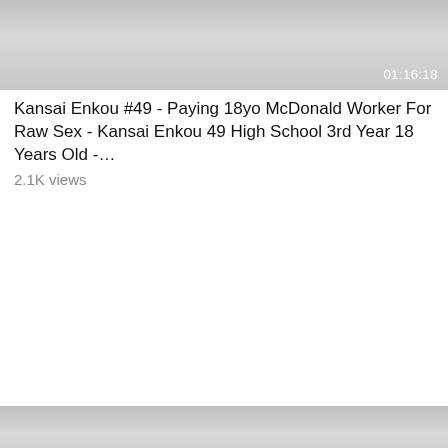[Figure (screenshot): Video thumbnail placeholder — gray gradient with duration overlay 01:16:18]
Kansai Enkou #49 - Paying 18yo McDonald Worker For Raw Sex - Kansai Enkou 49 High School 3rd Year 18 Years Old -…
2.1K views
[Figure (screenshot): Video thumbnail placeholder — gray gradient with duration overlay 24:00]
[Uncensored] SEX with a beautiful girl with the best body
3K views